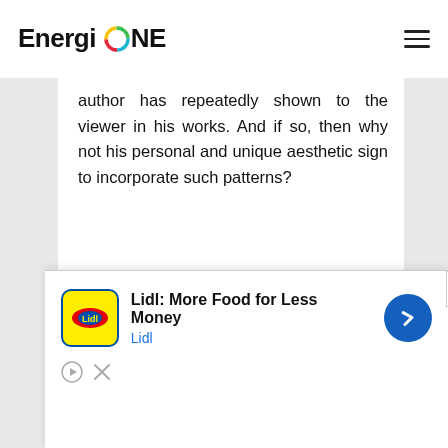EnergioNE
author has repeatedly shown to the viewer in his works. And if so, then why not his personal and unique aesthetic sign to incorporate such patterns?
Korovin North Idyll
[Figure (screenshot): Social share buttons: Facebook (blue), Twitter (light blue), Email (grey), Pinterest (red), More/Plus (orange-red)]
[Figure (screenshot): Advertisement overlay: Lidl: More Food for Less Money. Lidl logo on yellow background, blue direction sign icon, play and dismiss controls.]